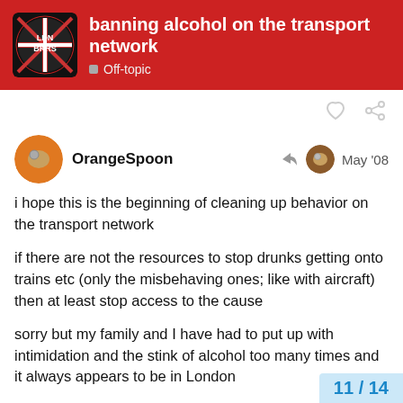banning alcohol on the transport network
Off-topic
OrangeSpoon
May '08
i hope this is the beginning of cleaning up behavior on the transport network
if there are not the resources to stop drunks getting onto trains etc (only the misbehaving ones; like with aircraft) then at least stop access to the cause
sorry but my family and I have had to put up with intimidation and the stink of alcohol too many times and it always appears to be in London
you can hang on for a few mins to get to t
11 / 14